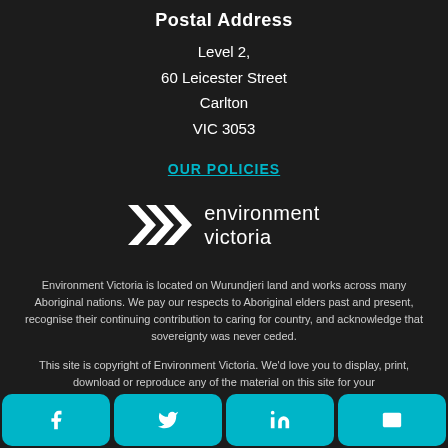Postal Address
Level 2,
60 Leicester Street
Carlton
VIC 3053
OUR POLICIES
[Figure (logo): Environment Victoria logo with triple arrow chevron and text 'environment victoria']
Environment Victoria is located on Wurundjeri land and works across many Aboriginal nations. We pay our respects to Aboriginal elders past and present, recognise their continuing contribution to caring for country, and acknowledge that sovereignty was never ceded.
This site is copyright of Environment Victoria. We'd love you to display, print, download or reproduce any of the material on this site for your personal use or to share with your friends. All other rights reserved.
Social share buttons: Facebook, Twitter, LinkedIn, Email